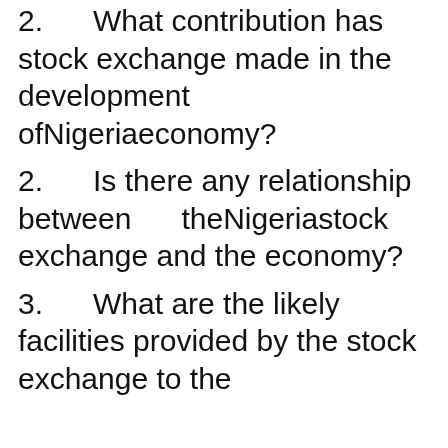2.      What contribution has stock exchange made in the development ofNigeriaeconomy?
2.      Is there any relationship between      theNigeriastock exchange and the economy?
3.      What are the likely facilities provided by the stock exchange to the